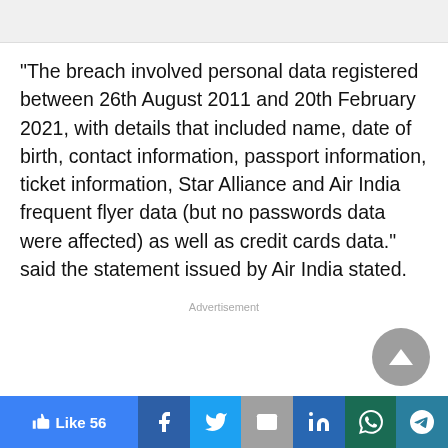[Figure (other): Top image placeholder bar]
“The breach involved personal data registered between 26th August 2011 and 20th February 2021, with details that included name, date of birth, contact information, passport information, ticket information, Star Alliance and Air India frequent flyer data (but no passwords data were affected) as well as credit cards data.” said the statement issued by Air India stated.
Advertisement
[Figure (other): Scroll to top button (grey circle with upward triangle)]
Like 56 | Facebook | Twitter | Email | LinkedIn | WhatsApp | Telegram